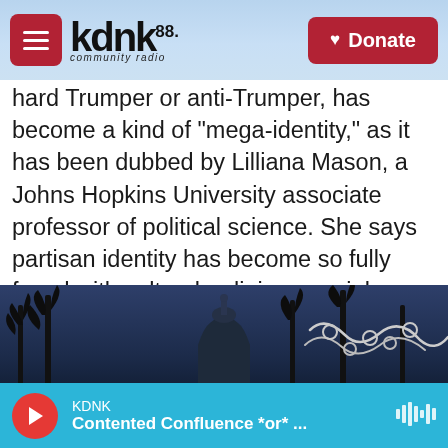KDNK 88.1 Community Radio — Donate
hard Trumper or anti-Trumper, has become a kind of "mega-identity," as it has been dubbed by Lilliana Mason, a Johns Hopkins University associate professor of political science. She says partisan identity has become so fully fused with cultural, religious, racial, gender and geographical identity that it's very high stakes for people to break with their party — or the party line.
[Figure (photo): Night-time photo of the US Capitol dome visible behind bare winter trees with razor wire fencing in the foreground against a dark blue sky]
KDNK — Contented Confluence *or* ...